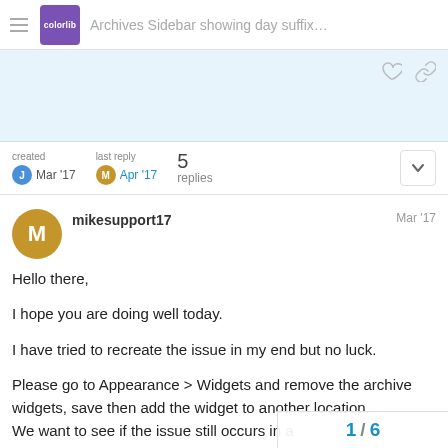Archives Sidebar showing day suffix...
created Mar '17  last reply Apr '17  5 replies
mikesupport17  Mar '17

Hello there,

I hope you are doing well today.

I have tried to recreate the issue in my end but no luck.

Please go to Appearance > Widgets and remove the archive widgets, save then add the widget to another location.
We want to see if the issue still occurs in a
1 / 6